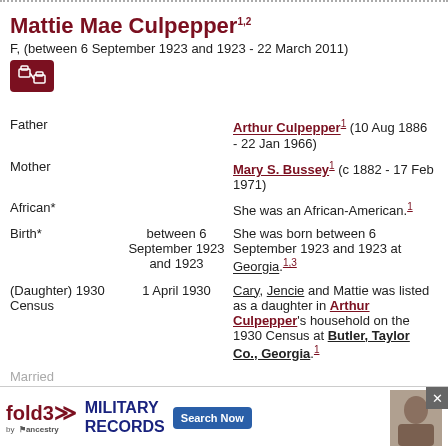Mattie Mae Culpepper1,2
F, (between 6 September 1923 and 1923 - 22 March 2011)
|  |  |  |
| --- | --- | --- |
| Father |  | Arthur Culpepper1 (10 Aug 1886 - 22 Jan 1966) |
| Mother |  | Mary S. Bussey1 (c 1882 - 17 Feb 1971) |
| African* |  | She was an African-American.1 |
| Birth* | between 6 September 1923 and 1923 | She was born between 6 September 1923 and 1923 at Georgia.1,3 |
| (Daughter) 1930 Census | 1 April 1930 | Cary, Jencie and Mattie was listed as a daughter in Arthur Culpepper's household on the 1930 Census at Butler, Taylor Co., Georgia.1 |
| Married |  |  |